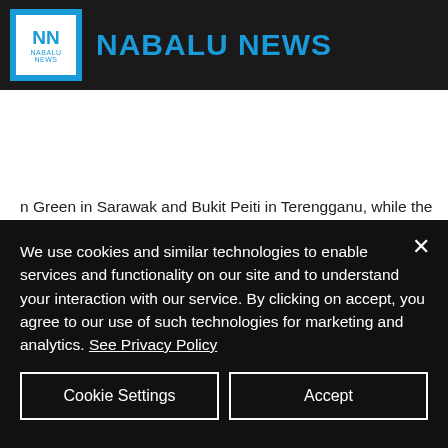NABALU NEWS
n Green in Sarawak and Bukit Peiti in Terengganu, while the cluster of high risk group detected in Terengganu is the Kubang Jambu Cluster.
We use cookies and similar technologies to enable services and functionality on our site and to understand your interaction with our service. By clicking on accept, you agree to our use of such technologies for marketing and analytics. See Privacy Policy